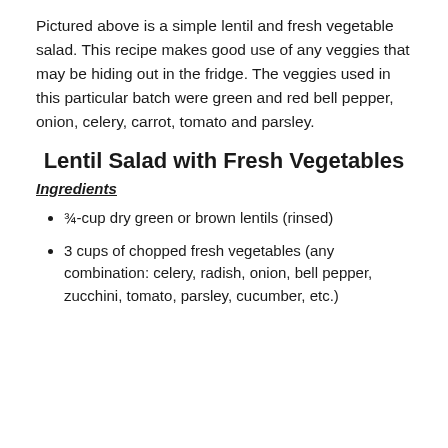Pictured above is a simple lentil and fresh vegetable salad. This recipe makes good use of any veggies that may be hiding out in the fridge. The veggies used in this particular batch were green and red bell pepper, onion, celery, carrot, tomato and parsley.
Lentil Salad with Fresh Vegetables
Ingredients
¾-cup dry green or brown lentils (rinsed)
3 cups of chopped fresh vegetables (any combination: celery, radish, onion, bell pepper, zucchini, tomato, parsley, cucumber, etc.)